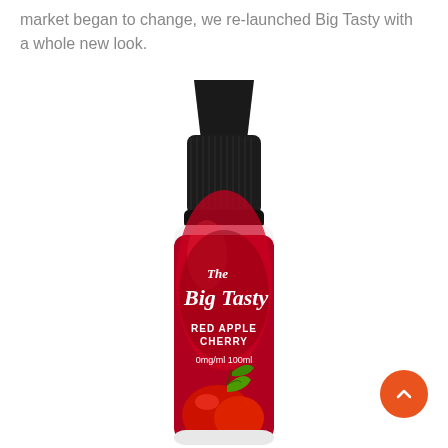market began to change, we re-launched Big Tasty with a whole new look.
[Figure (photo): A 100ml e-liquid bottle branded 'The Big Tasty' in Red Apple Cherry flavour, 0mg/ml, with a black child-proof cap and a red label featuring the brand name in white script, with red apple and green leaf imagery at the bottom.]